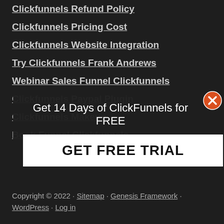Clickfunnels Refund Policy
Clickfunnels Pricing Cost
Clickfunnels Website Integration
Try Clickfunnels Frank Andrews
Webinar Sales Funnel Clickfunnels
Clickfunnels Paypal Plugin
Clickfunnels Makeup
Book Funnel Clickfunnels
Get 14 Days of ClickFunnels for FREE
GET FREE TRIAL
Copyright © 2022 · Sitemap · Genesis Framework · WordPress · Log in